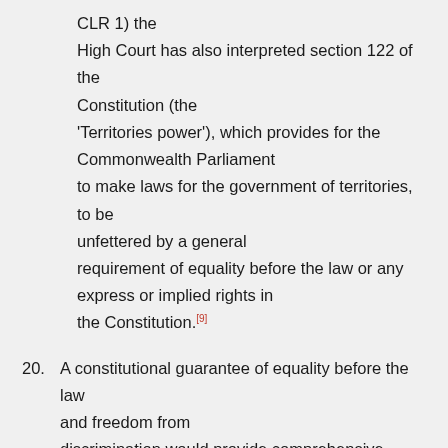CLR 1) the High Court has also interpreted section 122 of the Constitution (the 'Territories power'), which provides for the Commonwealth Parliament to make laws for the government of territories, to be unfettered by a general requirement of equality before the law or any express or implied rights in the Constitution.[9]
20. A constitutional guarantee of equality before the law and freedom from discrimination would provide comprehensive protection against racial discrimination
21. Constitutional reform is also considered by many to be part of the